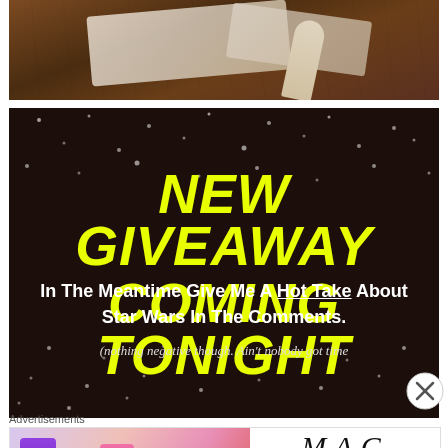[Figure (photo): Cosmetics and beauty products arranged on a dark wooden surface, partially visible at top of page.]
[Figure (infographic): Dark starfield background promotional image with yellow bold italic text reading 'NEW GIVEAWAY COMING TONIGHT' and white body text 'In The Meantime Give Me A Hot Take About Star Wars In The Comments.' with italic note '(nothing negative though. Ain't nobody got time']
Advertisements
[Figure (photo): MAC Cosmetics advertisement banner showing colorful lipsticks (purple, peach, pink, red) on left and MAC logo with SHOP NOW button on right.]